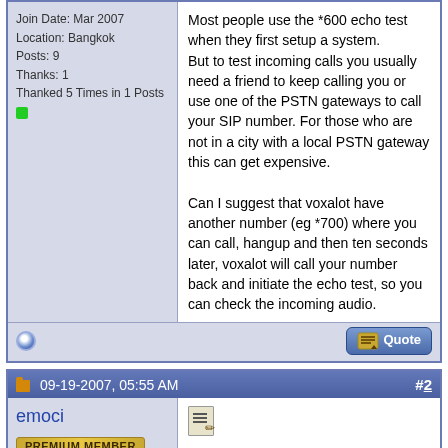Junior Member
Join Date: Mar 2007
Location: Bangkok
Posts: 9
Thanks: 1
Thanked 5 Times in 1 Posts
Most people use the *600 echo test when they first setup a system.
But to test incoming calls you usually need a friend to keep calling you or use one of the PSTN gateways to call your SIP number. For those who are not in a city with a local PSTN gateway this can get expensive.

Can I suggest that voxalot have another number (eg *700) where you can call, hangup and then ten seconds later, voxalot will call your number back and initiate the echo test, so you can check the incoming audio.
09-19-2007, 05:55 AM
#2
emoci
PREMIUM MEMBER
Sorry to bump this, but as I